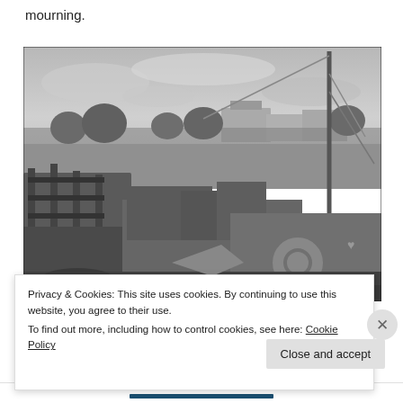mourning.
[Figure (photo): Black and white photograph of abandoned, damaged boats or ships in what appears to be a post-disaster or derelict harbor area. The vessels are heavily damaged with metal framework exposed. In the background are overgrown fields and buildings under a cloudy sky.]
Privacy & Cookies: This site uses cookies. By continuing to use this website, you agree to their use.
To find out more, including how to control cookies, see here: Cookie Policy